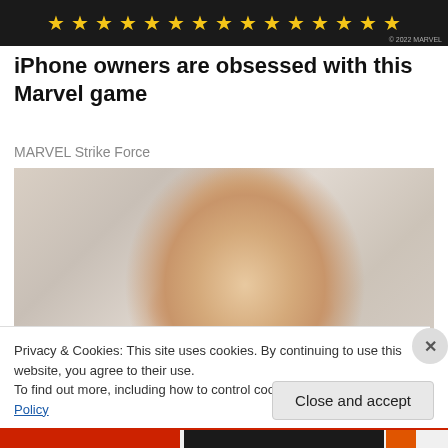[Figure (illustration): Dark ad banner with yellow star ratings and small Marvel copyright text]
iPhone owners are obsessed with this Marvel game
MARVEL Strike Force
[Figure (photo): Close-up photo of a young blonde toddler with dark eyes looking at the camera, blurred background]
Privacy & Cookies: This site uses cookies. By continuing to use this website, you agree to their use.
To find out more, including how to control cookies, see here: Cookie Policy
Close and accept